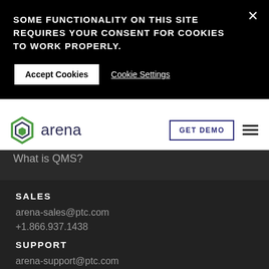SOME FUNCTIONALITY ON THIS SITE REQUIRES YOUR CONSENT FOR COOKIES TO WORK PROPERLY.
Accept Cookies
Cookie Settings
[Figure (logo): Arena logo with green hexagonal icon and 'arena' text in dark navy]
GET DEMO
What is QMS?
SALES
arena-sales@ptc.com
+1.866.937.1438
SUPPORT
arena-support@ptc.com
+1.866.341.4424